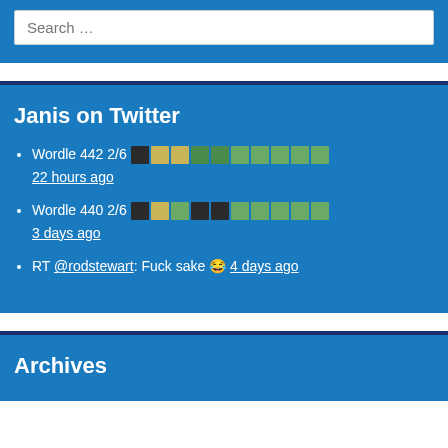Search ...
Janis on Twitter
Wordle 442 2/6 [squares] 22 hours ago
Wordle 440 2/6 [squares] 3 days ago
RT @rodstewart: Fuck sake 😂 4 days ago
Archives